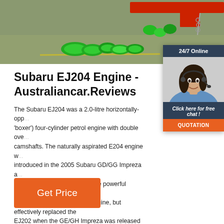[Figure (photo): Hero banner showing green industrial pipes/hoses on a warehouse floor with a red overhead beam/crane in the background.]
Subaru EJ204 Engine - Australiancar.Reviews
The Subaru EJ204 was a 2.0-litre horizontally-opp... ('boxer') four-cylinder petrol engine with double ove... camshafts. The naturally aspirated E204 engine w... introduced in the 2005 Subaru GD/GG Impreza a... Subaru BL/BP Liberty as a more powerful alterna... single overhead cam EJ202 engine, but effectively replaced the EJ202 when the GE/GH Impreza was released in ...
[Figure (photo): Chat widget panel with '24/7 Online' header, photo of a female customer service representative wearing a headset, 'Click here for free chat!' text, and an orange QUOTATION button.]
Get Price